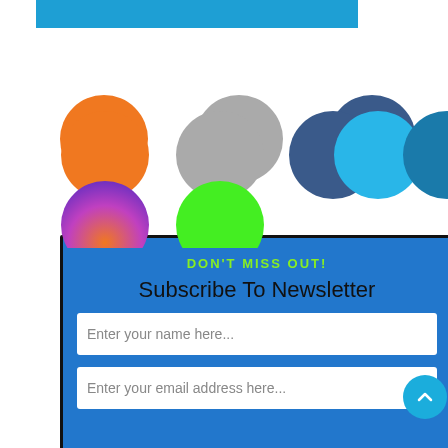[Figure (infographic): A blue rectangle banner at top left, followed by two rows of colored circles: row 1 has orange, gray, dark blue, sky blue, dark cyan circles; row 2 has purple-orange gradient and green circles. Below is a blue newsletter subscription form with green 'DON'T MISS OUT!' heading, 'Subscribe To Newsletter' title, two input fields for name and email, and a blue scroll-to-top button.]